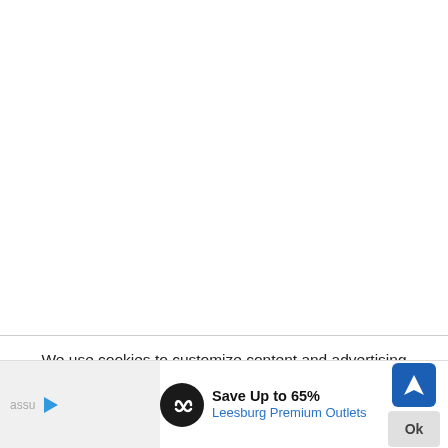[Figure (screenshot): White blank area taking up the upper portion of the page, representing a web page screenshot with content obscured or blank.]
partially visible text line (truncated at top of cookie notice area)
We use cookies to customize content and advertising and to ensure that we give you the best experience on our website. If you continue to use this site we will
[Figure (other): Advertisement banner at bottom: grey box with 'assu' text, play button icon, black circle with infinity logo, 'Save Up to 65% Leesburg Premium Outlets' text, blue diamond navigation icon, and 'Ok' button.]